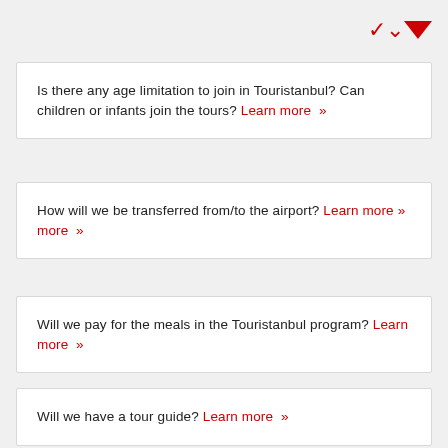[Figure (other): Red chevron/down-arrow icon in top right corner]
Is there any age limitation to join in Touristanbul? Can children or infants join the tours? Learn more »
How will we be transferred from/to the airport? Learn more »
Will we pay for the meals in the Touristanbul program? Learn more »
Will we have a tour guide? Learn more »